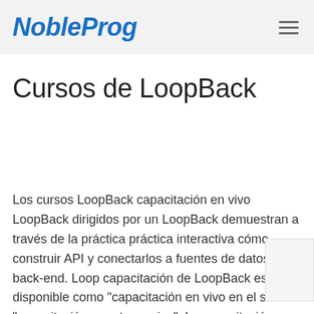NobleProg
Cursos de LoopBack
Los cursos LoopBack capacitación en vivo LoopBack dirigidos por un LoopBack demuestran a través de la práctica práctica interactiva cómo construir API y conectarlos a fuentes de datos de back-end. Loop capacitación de LoopBack está disponible como "capacitación en vivo en el sitio" o "capacitación remota en vivo". La capacitación en vivo en el lugar puede llevarse a